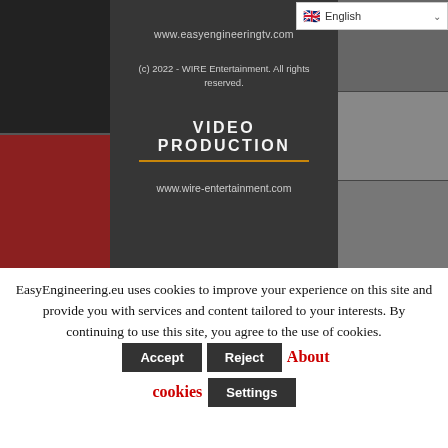[Figure (screenshot): Website header banner showing easyengineeringtv.com with dark overlay panel containing website URL, copyright notice, VIDEO PRODUCTION heading with gold underline, and wire-entertainment.com URL. Side panels show industrial/mechanical imagery. Language selector dropdown showing English with UK flag in top-right corner.]
EasyEngineering.eu uses cookies to improve your experience on this site and provide you with services and content tailored to your interests. By continuing to use this site, you agree to the use of cookies. Accept Reject About cookies Settings